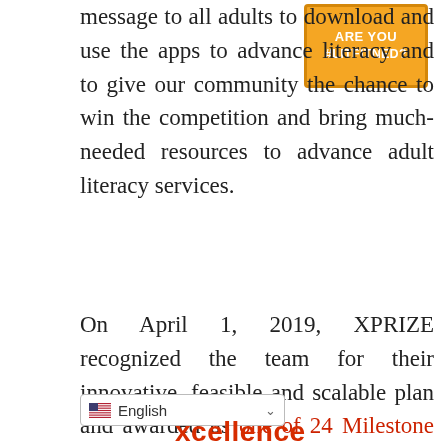message to all adults to download and use the apps to advance literacy and to give our community the chance to win the competition and bring much-needed resources to advance adult literacy services.
[Figure (other): Orange badge with bold white text reading 'ARE YOU #LITFITNED?' with a dark border]
On April 1, 2019, XPRIZE recognized the team for their innovative, feasible and scalable plan and awarded us one of 24 Milestone Awards, granted for best proposals.
English (language selector dropdown)
xcellence